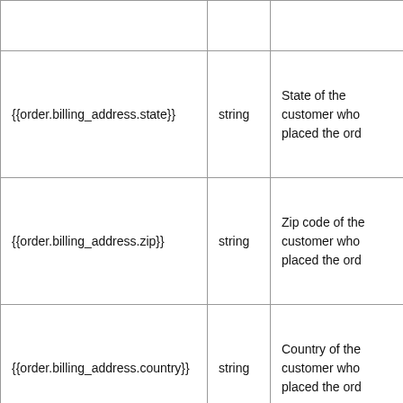| Variable | Type | Description |
| --- | --- | --- |
|  |  |  |
| {{order.billing_address.state}} | string | State of the customer who placed the ord… |
| {{order.billing_address.zip}} | string | Zip code of the customer who placed the ord… |
| {{order.billing_address.country}} | string | Country of the customer who placed the ord… |
|  |  | Country code… |